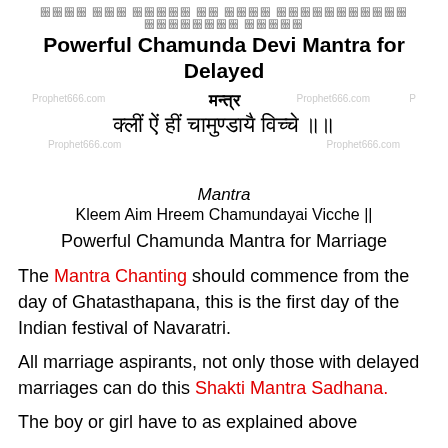॥ कुछ शब्द हिंदी में Chamunda Mantra for Marriage ॥
Powerful Chamunda Devi Mantra for Delayed
[Figure (other): Watermark text and Hindi mantra block: मन्त्र / क्लीं ऐं हीं चामुण्डायै विच्चे ॥ with Prophet666.com watermarks]
Mantra
Kleem Aim Hreem Chamundayai Vicche ||
Powerful Chamunda Mantra for Marriage
The Mantra Chanting should commence from the day of Ghatasthapana, this is the first day of the Indian festival of Navaratri.
All marriage aspirants, not only those with delayed marriages can do this Shakti Mantra Sadhana.
The boy or girl have to as explained above